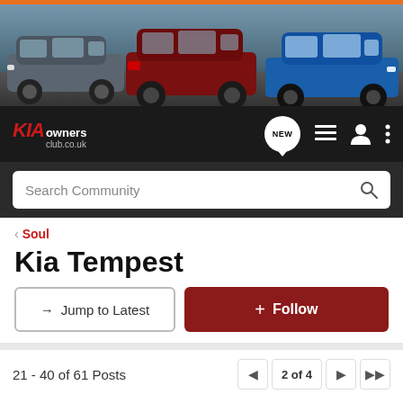[Figure (photo): KIA promotional banner showing three KIA cars (grey SUV, red SUV, blue hatchback) driving on a road]
[Figure (screenshot): KIA Owners Club navigation bar with logo, NEW chat badge, menu icons, person icon, and three-dot menu]
[Figure (screenshot): Search Community search bar on dark background]
< Soul
Kia Tempest
→ Jump to Latest
+ Follow
21 - 40 of 61 Posts
2 of 4
Foxy · Registered